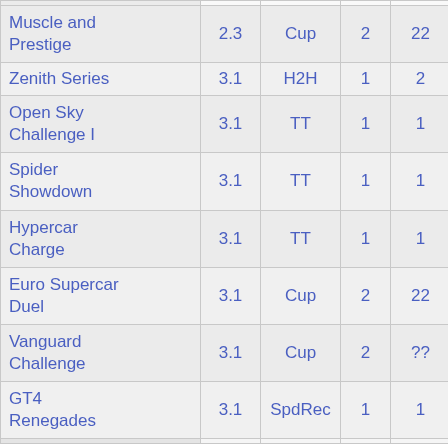| Name | Col2 | Col3 | Col4 | Col5 | Col6 | Col7 |
| --- | --- | --- | --- | --- | --- | --- |
| Muscle and Prestige | 2.3 | Cup | 2 | 22 |  | 4,600 |
| Zenith Series | 3.1 | H2H | 1 | 2 |  | 6,050 |
| Open Sky Challenge I | 3.1 | TT | 1 | 1 |  | 4,650 |
| Spider Showdown | 3.1 | TT | 1 | 1 |  | 2,650 |
| Hypercar Charge | 3.1 | TT | 1 | 1 |  | 2,360 |
| Euro Supercar Duel | 3.1 | Cup | 2 | 22 |  | 9,450 |
| Vanguard Challenge | 3.1 | Cup | 2 | ?? |  | 9,450 |
| GT4 Renegades | 3.1 | SpdRec | 1 | 1 |  | 2,650 |